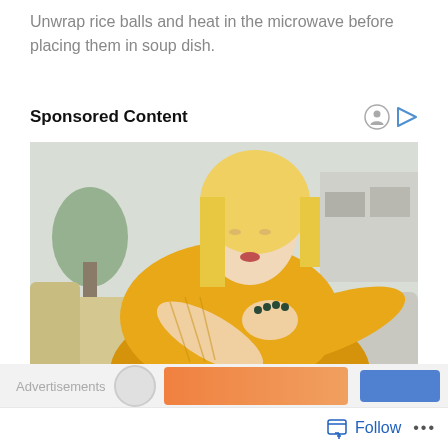Unwrap rice balls and heat in the microwave before placing them in soup dish.
Sponsored Content
[Figure (photo): Woman with blonde hair wearing a yellow knit sweater, sitting on a couch, looking at her arm/elbow area]
Advertisements  Follow  ...